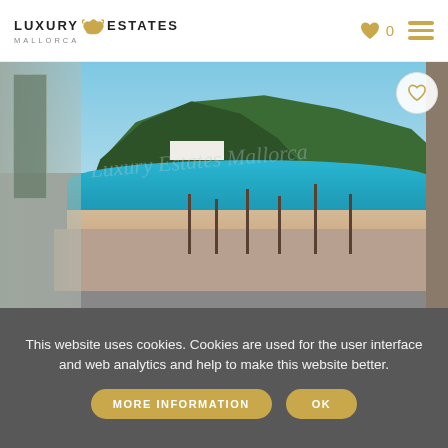[Figure (logo): Luxury Estates Mallorca logo with bull icon in gold]
[Figure (photo): Coastal view from balcony showing turquoise bay beach with palm trees and green hillside in Mallorca]
This website uses cookies. Cookies are used for the user interface and web analytics and help to make this website better.
MORE INFORMATION
OK